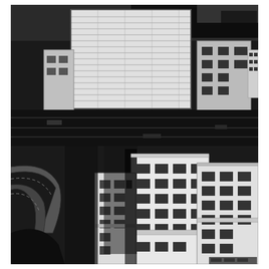[Figure (photo): High-contrast black and white aerial photograph of an urban cityscape. In the upper portion, a large modern rectangular glass office tower dominates the skyline, surrounded by lower older buildings and what appears to be a dark body of water or wide road. In the lower portion, curved highway ramps and elevated roads are visible on the left side, while tall multi-story white masonry commercial/office buildings with regularly spaced windows fill the center and right. Dark shadows and high contrast grain give the image a mid-20th century newspaper print quality.]